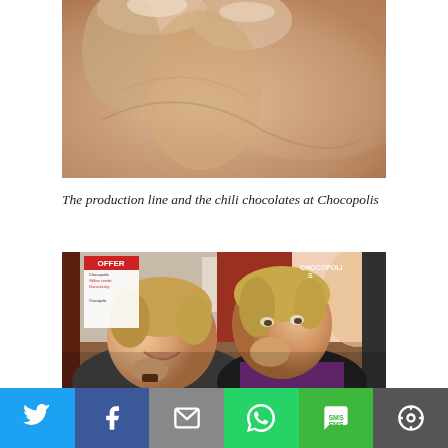[Figure (photo): Close-up photo of a hand holding a piece of chocolate, with blurred background]
The production line and the chili chocolates at Chocopolis
[Figure (photo): Two blonde women tasting chocolate inside the Chocopolis store, with OFFER signs and Chocopolis branding visible in background]
[Figure (screenshot): Social sharing bar with Twitter, Facebook, Email, WhatsApp, SMS, and More buttons]